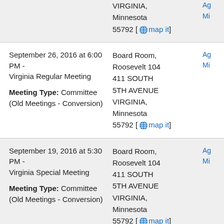VIRGINIA, Minnesota 55792 [map it]
September 26, 2016 at 6:00 PM - Virginia Regular Meeting
Meeting Type: Committee (Old Meetings - Conversion)
Board Room, Roosevelt 104 411 SOUTH 5TH AVENUE VIRGINIA, Minnesota 55792 [map it]
September 19, 2016 at 5:30 PM - Virginia Special Meeting
Meeting Type: Committee (Old Meetings - Conversion)
Board Room, Roosevelt 104 411 SOUTH 5TH AVENUE VIRGINIA, Minnesota 55792 [map it]